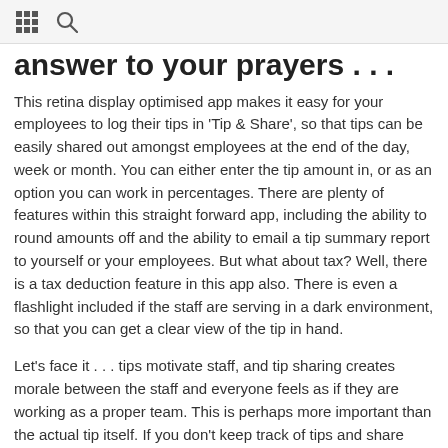⊞ 🔍
answer to your prayers . . .
This retina display optimised app makes it easy for your employees to log their tips in 'Tip & Share', so that tips can be easily shared out amongst employees at the end of the day, week or month. You can either enter the tip amount in, or as an option you can work in percentages. There are plenty of features within this straight forward app, including the ability to round amounts off and the ability to email a tip summary report to yourself or your employees. But what about tax? Well, there is a tax deduction feature in this app also. There is even a flashlight included if the staff are serving in a dark environment, so that you can get a clear view of the tip in hand.
Let's face it . . . tips motivate staff, and tip sharing creates morale between the staff and everyone feels as if they are working as a proper team. This is perhaps more important than the actual tip itself. If you don't keep track of tips and share them, there is a danger that your staff will just give extra attention to known tippers only. Do you have many staff members? No problem, as this app can track tips for